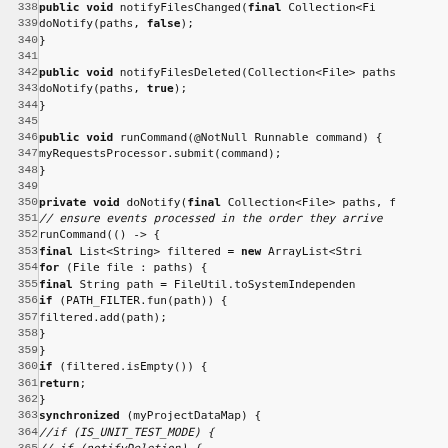[Figure (screenshot): Source code listing showing Java methods notifyFilesChanged, notifyFilesDeleted, runCommand, and doNotify with line numbers 338-370, displayed in a monospaced font on a light gray background.]